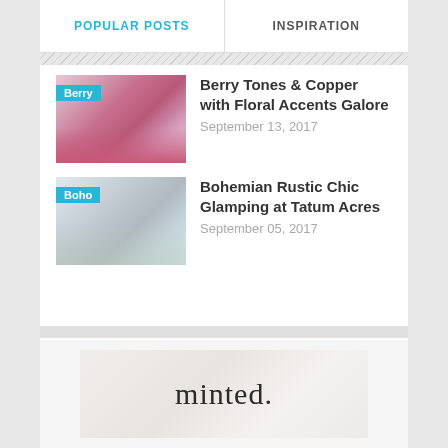POPULAR POSTS
INSPIRATION
[Figure (photo): Bridesmaids in berry/pink tones with floral bouquets, labeled 'Berry']
Berry Tones & Copper with Floral Accents Galore
September 13, 2017
[Figure (photo): Bride in white dress in boho rustic outdoor setting, labeled 'Boho']
Bohemian Rustic Chic Glamping at Tatum Acres
September 05, 2017
[Figure (logo): minted. brand logo on marble-textured background]